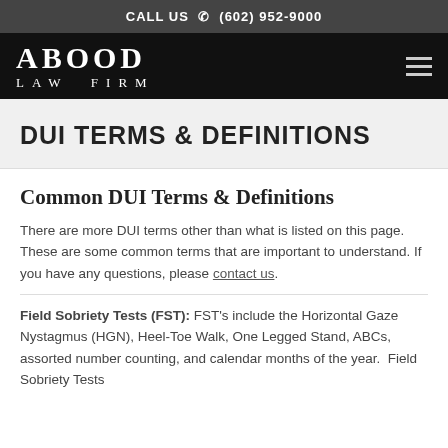CALL US  (602) 952-9000
[Figure (logo): Abood Law Firm logo in white text on black background]
DUI TERMS & DEFINITIONS
Common DUI Terms & Definitions
There are more DUI terms other than what is listed on this page. These are some common terms that are important to understand. If you have any questions, please contact us.
Field Sobriety Tests (FST): FST's include the Horizontal Gaze Nystagmus (HGN), Heel-Toe Walk, One Legged Stand, ABCs, assorted number counting, and calendar months of the year.  Field Sobriety Tests